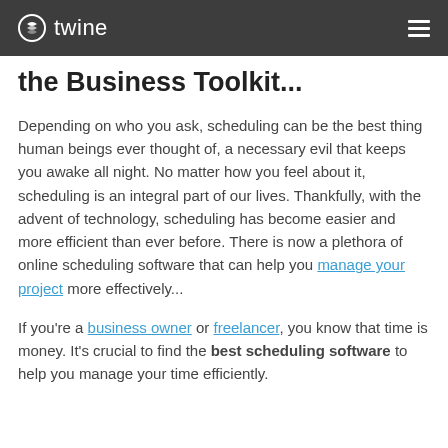twine
the Business Toolkit...
Depending on who you ask, scheduling can be the best thing human beings ever thought of, a necessary evil that keeps you awake all night. No matter how you feel about it, scheduling is an integral part of our lives. Thankfully, with the advent of technology, scheduling has become easier and more efficient than ever before. There is now a plethora of online scheduling software that can help you manage your project more effectively...
If you're a business owner or freelancer, you know that time is money. It's crucial to find the best scheduling software to help you manage your time efficiently.